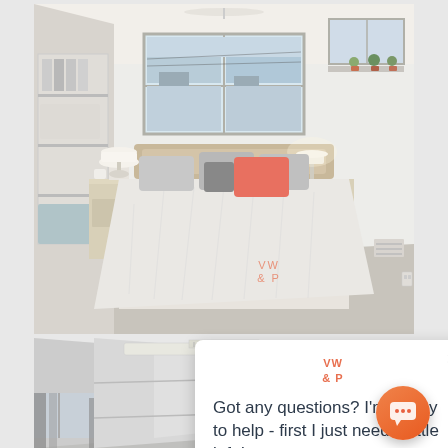[Figure (photo): Modern bedroom with white walls, large windows, bed with white pintuck comforter and coral/grey pillows, bedside table with white lamp, storage shelving on left wall with binders]
[Figure (photo): Interior hallway or common area with grey and white color scheme, long corridor with windows, grey curtains]
VW & P
Got any questions? I'm happy to help - first I just need a little info!